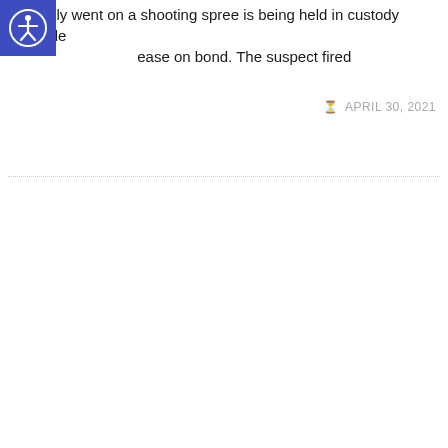allegedly went on a shooting spree is being held in custody ineligible for release on bond. The suspect fired
[Figure (other): Accessibility icon: white person with circle outline on blue square background]
APRIL 30, 2021